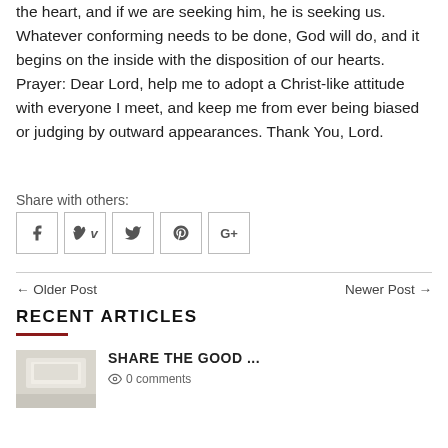the heart, and if we are seeking him, he is seeking us. Whatever conforming needs to be done, God will do, and it begins on the inside with the disposition of our hearts. Prayer: Dear Lord, help me to adopt a Christ-like attitude with everyone I meet, and keep me from ever being biased or judging by outward appearances. Thank You, Lord.
Share with others:
[Figure (other): Social sharing icons: Facebook, Vimeo, Twitter, Pinterest, Google+]
← Older Post    Newer Post →
RECENT ARTICLES
[Figure (photo): Thumbnail image for recent article]
SHARE THE GOOD ...
0 comments